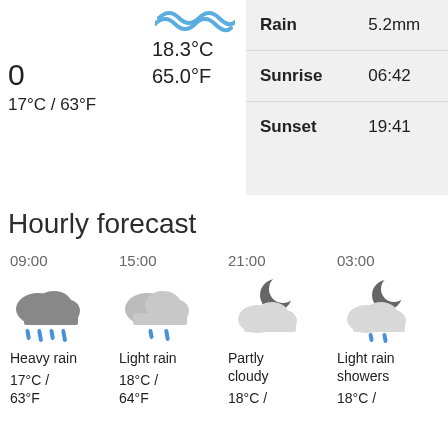[Figure (illustration): Wave/water icon in blue]
18.3°C
0
17°C / 63°F
65.0°F
|  |  |
| --- | --- |
| Rain | 5.2mm |
| Sunrise | 06:42 |
| Sunset | 19:41 |
Hourly forecast
09:00
[Figure (illustration): Heavy rain cloud icon with rain drops]
Heavy rain
17°C /
63°F
15:00
[Figure (illustration): Light rain cloud icon with rain drops]
Light rain
18°C /
64°F
21:00
[Figure (illustration): Partly cloudy night icon with moon and cloud]
Partly
cloudy
18°C /
03:00
[Figure (illustration): Light rain showers night icon with moon, cloud, and rain drops]
Light rain
showers
18°C /